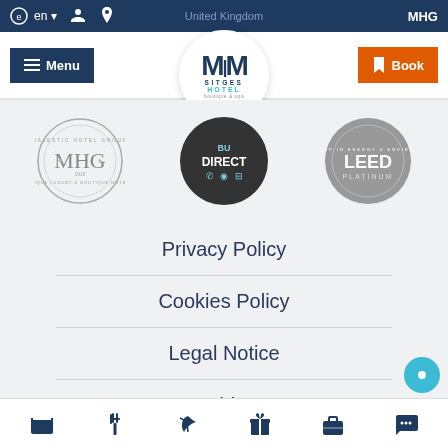en | United Kingdom | MHG
[Figure (logo): MiM Sitges Hotel boutique & spa logo in center of navigation bar]
[Figure (logo): MHG Majestic Hotel Group circular logo on left]
[Figure (logo): Book Direct circular dark badge in center]
[Figure (logo): LEED Platinum circular badge on right]
Privacy Policy
Cookies Policy
Legal Notice
Covid-19
Navigation icons: bed, restaurant, spa, gifts, briefcase, chat